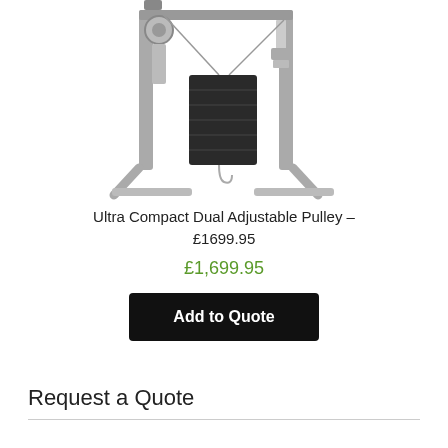[Figure (photo): Ultra Compact Dual Adjustable Pulley gym machine, silver/grey frame with black weight stack, cropped at top]
Ultra Compact Dual Adjustable Pulley – £1699.95
£1,699.95
Add to Quote
Request a Quote